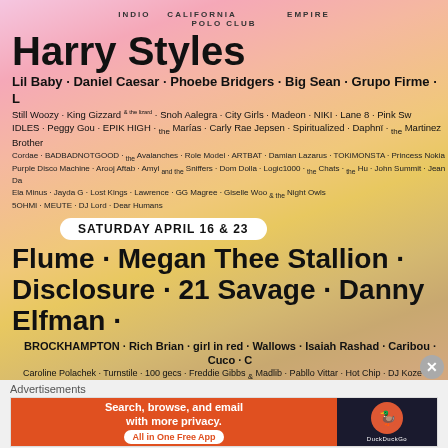[Figure (infographic): Coachella festival lineup poster with gradient pink/orange/yellow background. Shows INDIO CALIFORNIA and EMPIRE POLO CLUB text at top with logo.]
Harry Styles
Lil Baby · Daniel Caesar · Phoebe Bridgers · Big Sean · Grupo Firme · L...
Still Woozy · King Gizzard & the Lizard Wizard · Snoh Aalegra · City Girls · Madeon · NIKI · Lane 8 · Pink Sw...
IDLES · Peggy Gou · EPIK HIGH · the Marías · Carly Rae Jepsen · Spiritualized · Daphnï · the Martinez Brothers
Cordae · BADBADNOTGOOD · the Avalanches · Role Model · ARTBAT · Damian Lazarus · TOKiMONSTA · Princess Nokia...
Purple Disco Machine · Arooj Aftab · Amyl and the Sniffers · Dom Dolla · Logic1000 · the Chats · the Hu · John Summit · Jean Da...
Ela Minus · Jayda G · Lost Kings · Lawrence · GG Magree · Giselle Woo & the Night Owls
SOHMI · MEUTE · DJ Lord · Dear Humans
SATURDAY APRIL 16 & 23
Flume · Megan Thee Stallion · Disclosure · 21 Savage · Danny Elfman ·
BROCKHAMPTON · Rich Brian · girl in red · Wallows · Isaiah Rashad · Caribou · Cuco · C...
Caroline Polachek · Turnstile · 100 gecs · Freddie Gibbs & Madlib · Pabllo Vittar · Hot Chip · DJ Koze · Fl...
Rina Sawayama · Japanese Breakfast · Masego · Chelsea Cutler · Nicki Nicole · Richie Hawtin · Beach Bunny...
black midi · Molchat Doma · Chris Liebing · Kyary Pamyu Pamyu · Inner Wave · ANNA · Holly Humberst...
Alaina Castillo · Poco Osuna · Beach Goons · VNSSA · Mannequ...
Swedish House Mafia x The Weeknd
Doja Cat · Joji · Jamie xx · Run the Jewels · Karol G · Maggie Rogers · A...
Father Olios · Miso Line · LL of BLANDER · Galeana · Justin Quiles · Raoul Gome · FINN...
Advertisements
[Figure (infographic): DuckDuckGo advertisement banner: orange left side with text 'Search, browse, and email with more privacy. All in One Free App', dark right side with DuckDuckGo logo.]